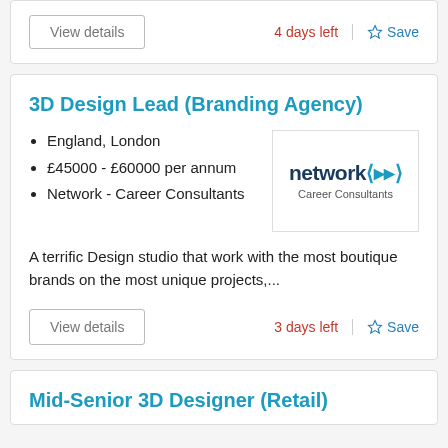4 days left
Save
3D Design Lead (Branding Agency)
England, London
£45000 - £60000 per annum
Network - Career Consultants
[Figure (logo): Network Career Consultants logo with angular bracket arrows]
A terrific Design studio that work with the most boutique brands on the most unique projects,...
View details
3 days left
Save
Mid-Senior 3D Designer (Retail)